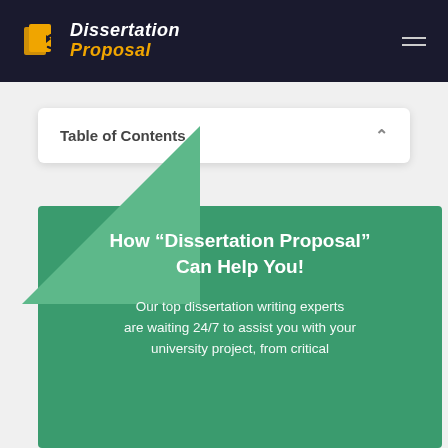Dissertation Proposal
Table of Contents
How “Dissertation Proposal” Can Help You!
Our top dissertation writing experts are waiting 24/7 to assist you with your university project, from critical